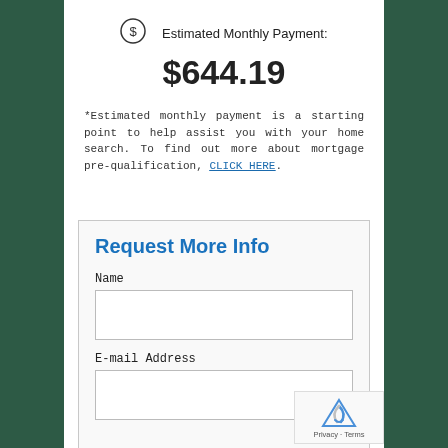Estimated Monthly Payment:
$644.19
*Estimated monthly payment is a starting point to help assist you with your home search. To find out more about mortgage pre-qualification, CLICK HERE.
Request More Info
Name
E-mail Address